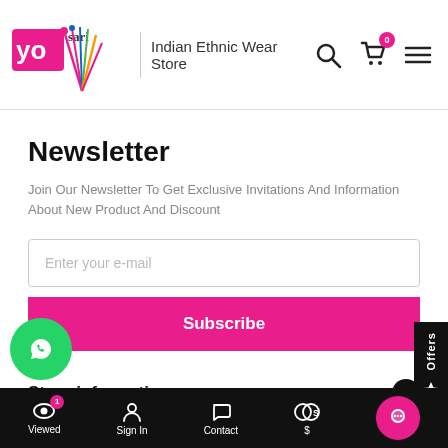YoSari - Indian Ethnic Wear Store
Newsletter
Join Our Newsletter To Get Exclusive Invitations And Information About New Product And Discount
Enter your e-mail
Subscribe
Store information
Customer Gallery
Viewed  Sign In  Contact  $  (chat)